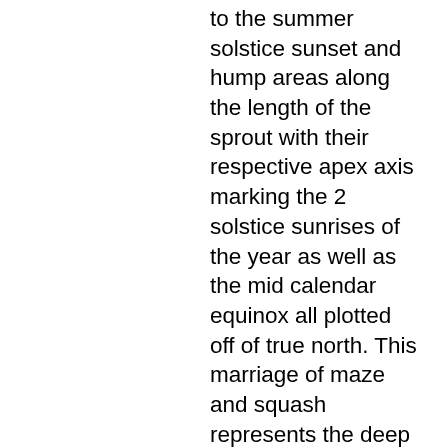to the summer solstice sunset and hump areas along the length of the sprout with their respective apex axis marking the 2 solstice sunrises of the year as well as the mid calendar equinox all plotted off of true north. This marriage of maze and squash represents the deep seated horticulture base of indigenous peoples to this area and their ties to the seasons that govern the growth and harvest of crops and therefore give life as its gift. Native Eastern Woodland Nations lore tells of the corn and the bean in oral tradition and their accompaniment with one another as a sacred partnership giving structure to the sprout as the maze grows tall. The origin and prehistoric use of the mound structure is at its heart a Farmers Almanac of sorts for a people to whom maze cultivation rooted them in many ways and was celebrated in its kind with